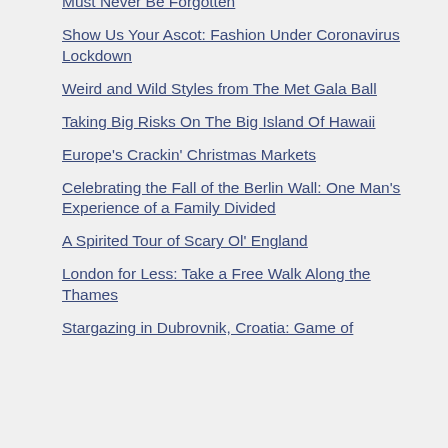Must Never Be Forgotten
Show Us Your Ascot: Fashion Under Coronavirus Lockdown
Weird and Wild Styles from The Met Gala Ball
Taking Big Risks On The Big Island Of Hawaii
Europe's Crackin' Christmas Markets
Celebrating the Fall of the Berlin Wall: One Man's Experience of a Family Divided
A Spirited Tour of Scary Ol' England
London for Less: Take a Free Walk Along the Thames
Stargazing in Dubrovnik, Croatia: Game of